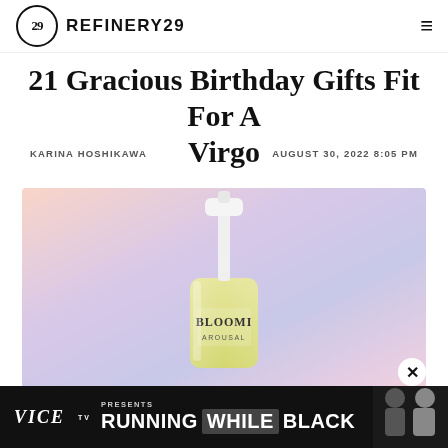REFINERY29
21 Gracious Birthday Gifts Fit For A Virgo
KARINA HOSHIKAWA   AUGUST 30, 2022 8:05 PM
[Figure (photo): A glass bottle of Bloomi Arousal product with a white pump dispenser, set against a soft pastel gradient background of lavender, pink, and peach.]
VICE TV PRESENTS RUNNING WHILE BLACK